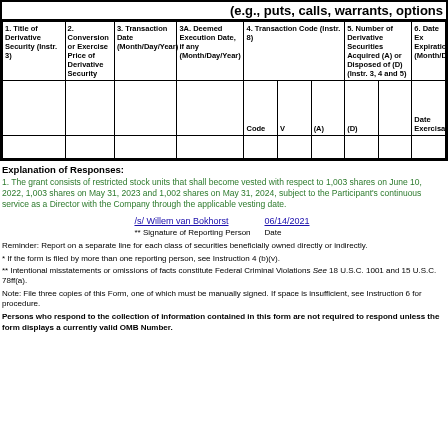(e.g., puts, calls, warrants, options
| 1. Title of Derivative Security (Instr. 3) | 2. Conversion or Exercise Price of Derivative Security | 3. Transaction Date (Month/Day/Year) | 3A. Deemed Execution Date, if any (Month/Day/Year) | 4. Transaction Code (Instr. 8) | 5. Number of Derivative Securities Acquired (A) or Disposed of (D) (Instr. 3, 4 and 5) | 6. Date Expiration (Month/Da |
| --- | --- | --- | --- | --- | --- | --- |
|  |  |  |  | Code | V | (A) | (D) | Date Exercisab |  |  |
Explanation of Responses:
1. The grant consists of restricted stock units that shall become vested with respect to 1,003 shares on June 10, 2022, 1,003 shares on May 31, 2023 and 1,002 shares on May 31, 2024, subject to the Participant's continuous service as a Director with the Company through the applicable vesting date.
/s/ Willem van Bokhorst   06/14/2021
** Signature of Reporting Person   Date
Reminder: Report on a separate line for each class of securities beneficially owned directly or indirectly.
* If the form is filed by more than one reporting person, see Instruction 4 (b)(v).
** Intentional misstatements or omissions of facts constitute Federal Criminal Violations See 18 U.S.C. 1001 and 15 U.S.C. 78ff(a).
Note: File three copies of this Form, one of which must be manually signed. If space is insufficient, see Instruction 6 for procedure.
Persons who respond to the collection of information contained in this form are not required to respond unless the form displays a currently valid OMB Number.